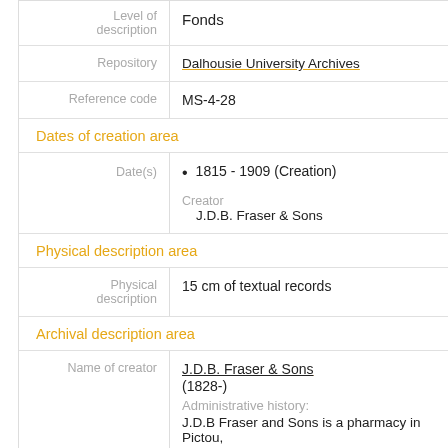| Field | Value |
| --- | --- |
| Level of description | Fonds |
| Repository | Dalhousie University Archives |
| Reference code | MS-4-28 |
Dates of creation area
| Field | Value |
| --- | --- |
| Date(s) | 1815 - 1909 (Creation)
Creator: J.D.B. Fraser & Sons |
Physical description area
| Field | Value |
| --- | --- |
| Physical description | 15 cm of textual records |
Archival description area
| Field | Value |
| --- | --- |
| Name of creator | J.D.B. Fraser & Sons (1828-)
Administrative history:
J.D.B Fraser and Sons is a pharmacy in Pictou, Nova Scotia, known in the late nineteenth |